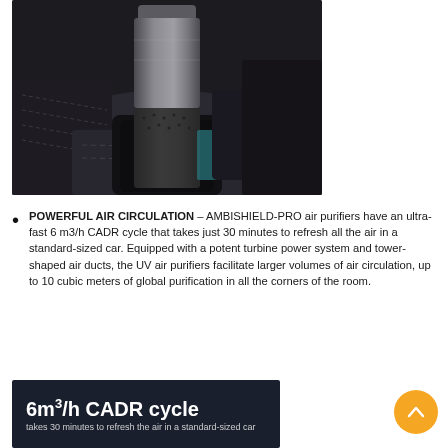[Figure (photo): A cylindrical dark metal/leather car air purifier device sitting in a car cup holder, surrounded by dark leather car interior seats]
POWERFUL AIR CIRCULATION – AMBISHIELD-PRO air purifiers have an ultra-fast 6 m3/h CADR cycle that takes just 30 minutes to refresh all the air in a standard-sized car. Equipped with a potent turbine power system and tower-shaped air ducts, the UV air purifiers facilitate larger volumes of air circulation, up to 10 cubic meters of global purification in all the corners of the room.
[Figure (infographic): Dark navy banner showing '6m³/h CADR cycle' in large white bold text with subtitle text below]